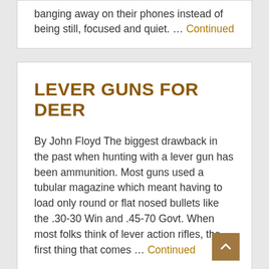banging away on their phones instead of being still, focused and quiet. … Continued
LEVER GUNS FOR DEER
By John Floyd The biggest drawback in the past when hunting with a lever gun has been ammunition. Most guns used a tubular magazine which meant having to load only round or flat nosed bullets like the .30-30 Win and .45-70 Govt. When most folks think of lever action rifles, the first thing that comes … Continued